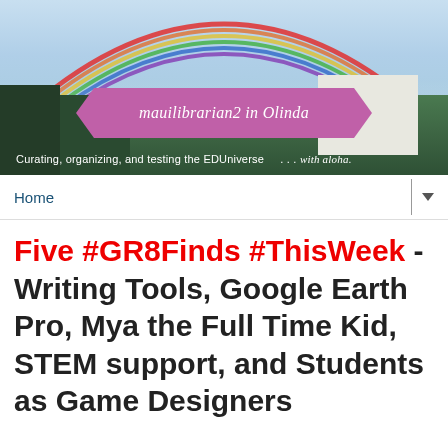[Figure (photo): Blog header banner showing a rainbow over green trees and a white house, with a purple ribbon reading 'mauilibrarian2 in Olinda' and tagline 'Curating, organizing, and testing the EDUniverse ... with aloha']
Home
Five #GR8Finds #ThisWeek - Writing Tools, Google Earth Pro, Mya the Full Time Kid, STEM support, and Students as Game Designers